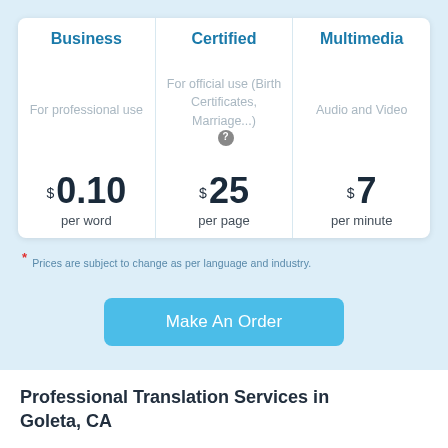| Business | Certified | Multimedia |
| --- | --- | --- |
| For professional use | For official use (Birth Certificates, Marriage...) | Audio and Video |
| $0.10 per word | $25 per page | $7 per minute |
* Prices are subject to change as per language and industry.
Make An Order
Professional Translation Services in Goleta, CA